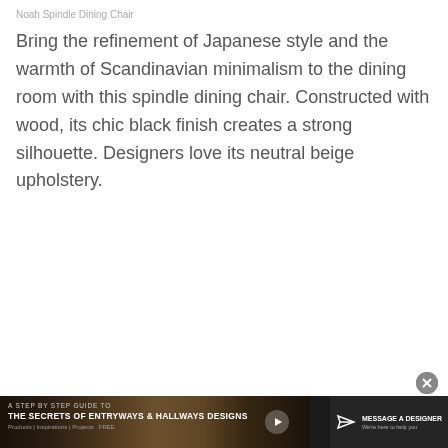Noah Spindle Dining Chair
Bring the refinement of Japanese style and the warmth of Scandinavian minimalism to the dining room with this spindle dining chair. Constructed with wood, its chic black finish creates a strong silhouette. Designers love its neutral beige upholstery.
[Figure (infographic): Bottom banner advertisement: dark background with interior design image, text reading 'A STEP BY STEP GUIDE TO THE SECRETS OF ENTRYWAYS & HALLWAYS DESIGNS' with navigation links 'Products | Inspirations | Projects | FREE' and a 'MESSAGE A DESIGNER' call-to-action button with send icon. A close (X) button appears above the banner.]